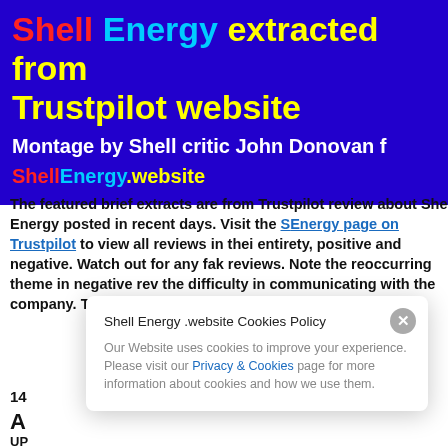[Figure (infographic): Purple banner with coloured title text: 'Shell Energy extracted from Trustpilot website' and subtitle 'Montage by Shell critic John Donovan for ShellEnergy.website']
The featured brief extracts are from Trustpilot reviews about Shell Energy posted in recent days. Visit the Shell Energy page on Trustpilot to view all reviews in their entirety, positive and negative. Watch out for any fake reviews. Note the reoccurring theme in negative reviews: the difficulty in communicating with the company. Typos corrected.
14 Jan 2020
Awful customer service
UP...
After...
Shell Energy .website Cookies Policy
Our Website uses cookies to improve your experience. Please visit our Privacy & Cookies page for more information about cookies and how we use them.